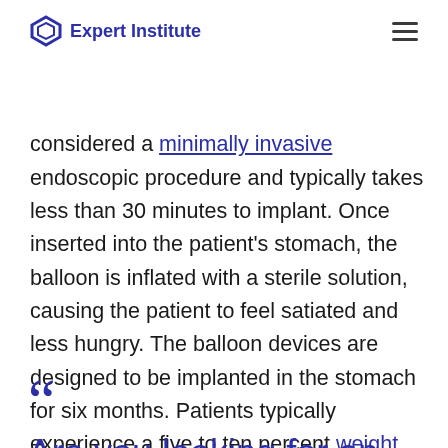Expert Institute
considered a minimally invasive endoscopic procedure and typically takes less than 30 minutes to implant. Once inserted into the patient's stomach, the balloon is inflated with a sterile solution, causing the patient to feel satiated and less hungry. The balloon devices are designed to be implanted in the stomach for six months. Patients typically experience a five to ten percent weight loss.
Are you looking for an expert